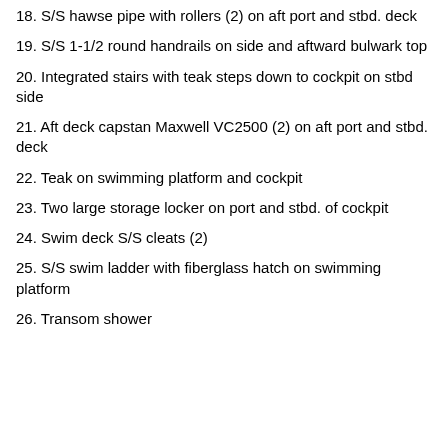18. S/S hawse pipe with rollers (2) on aft port and stbd. deck
19. S/S 1-1/2 round handrails on side and aftward bulwark top
20. Integrated stairs with teak steps down to cockpit on stbd side
21. Aft deck capstan Maxwell VC2500 (2) on aft port and stbd. deck
22. Teak on swimming platform and cockpit
23. Two large storage locker on port and stbd. of cockpit
24. Swim deck S/S cleats (2)
25. S/S swim ladder with fiberglass hatch on swimming platform
26. Transom shower